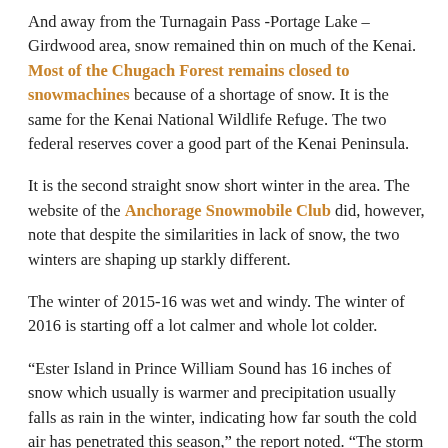And away from the Turnagain Pass -Portage Lake – Girdwood area, snow remained thin on much of the Kenai. Most of the Chugach Forest remains closed to snowmachines because of a shortage of snow. It is the same for the Kenai National Wildlife Refuge. The two federal reserves cover a good part of the Kenai Peninsula.
It is the second straight snow short winter in the area. The website of the Anchorage Snowmobile Club did, however, note that despite the similarities in lack of snow, the two winters are shaping up starkly different.
The winter of 2015-16 was wet and windy. The winter of 2016 is starting off a lot calmer and whole lot colder.
“Ester Island in Prince William Sound has 16 inches of snow which usually is warmer and precipitation usually falls as rain in the winter, indicating how far south the cold air has penetrated this season,” the report noted. “The storm systems have generally been weak through 12/15, especially compared to last winters monster rain makers, and the PWS and Gulf Coast are not in a good setting precipitation in the f